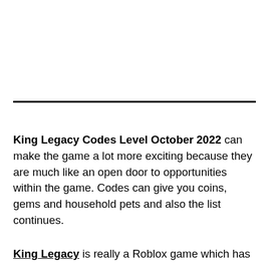King Legacy Codes Level October 2022 can make the game a lot more exciting because they are much like an open door to opportunities within the game. Codes can give you coins, gems and household pets and also the list continues.
King Legacy is really a Roblox game which has